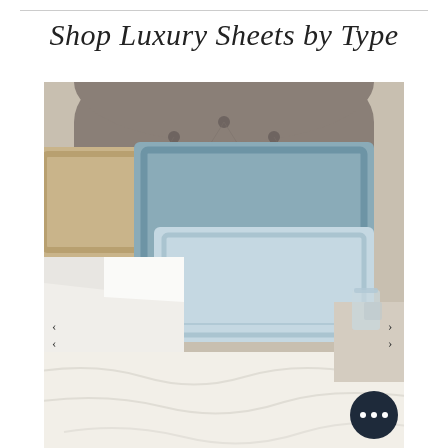Shop Luxury Sheets by Type
[Figure (photo): A luxurious bed scene with layered pillows in white, light blue, and tan/beige colors against a tufted gray upholstered headboard, with crisp white and cream bed linens, and a glass on a nightstand to the right.]